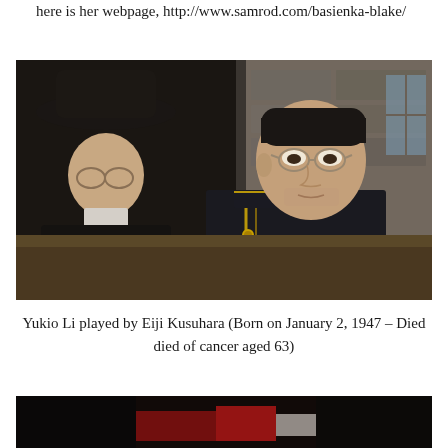here is her webpage, http://www.samrod.com/basienka-blake/
[Figure (photo): Film still showing two men seated together. On the left is a man in a dark suit and black hat with glasses. On the right is a man in a dark military-style uniform with gold trim and round glasses, looking slightly to the side. Stone building visible in background.]
Yukio Li played by Eiji Kusuhara (Born on January 2, 1947 – Died died of cancer aged 63)
[Figure (photo): Partial film still, dark scene with red and white elements visible at the bottom of the page.]